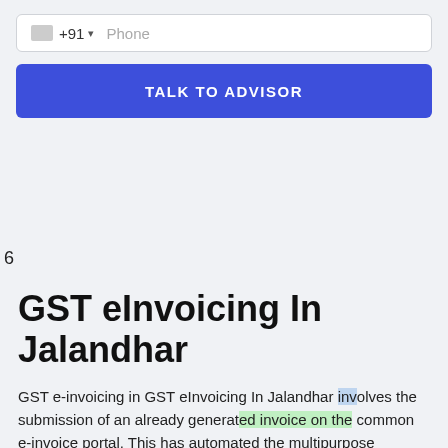[Figure (screenshot): Phone input field with +91 country code and Phone placeholder text]
[Figure (screenshot): Blue button with text TALK TO ADVISOR]
6
GST eInvoicing In Jalandhar
[Figure (screenshot): Chat widget overlay showing We're Online! and How may I help you today? with a person wearing headphones]
GST e-invoicing in GST eInvoicing In Jalandhar involves the submission of an already generated invoice on the common e-invoice portal. This has automated the multipurpose reporting by adding the details of the invoices